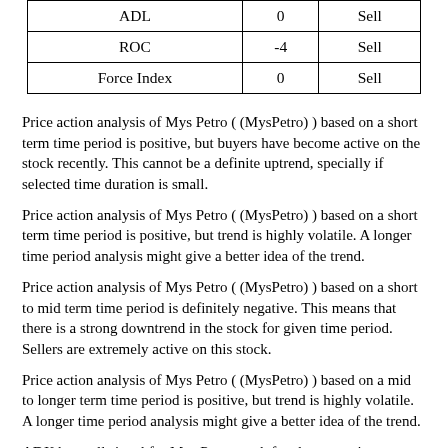|  |  |  |
| --- | --- | --- |
| ADL | 0 | Sell |
| ROC | -4 | Sell |
| Force Index | 0 | Sell |
Price action analysis of Mys Petro ( (MysPetro) ) based on a short term time period is positive, but buyers have become active on the stock recently. This cannot be a definite uptrend, specially if selected time duration is small.
Price action analysis of Mys Petro ( (MysPetro) ) based on a short term time period is positive, but trend is highly volatile. A longer time period analysis might give a better idea of the trend.
Price action analysis of Mys Petro ( (MysPetro) ) based on a short to mid term time period is definitely negative. This means that there is a strong downtrend in the stock for given time period. Sellers are extremely active on this stock.
Price action analysis of Mys Petro ( (MysPetro) ) based on a mid to longer term time period is positive, but trend is highly volatile. A longer time period analysis might give a better idea of the trend.
ADX buy sell signal for Mys Petro stock for short term is